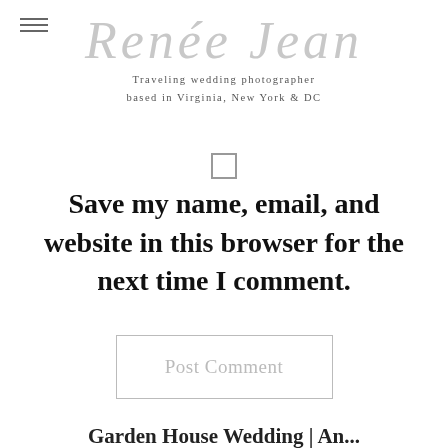[Figure (logo): Renee Jean cursive script logo with tagline 'Traveling wedding photographer based in Virginia, New York & DC']
Save my name, email, and website in this browser for the next time I comment.
Post Comment
Garden House Wedding | An...